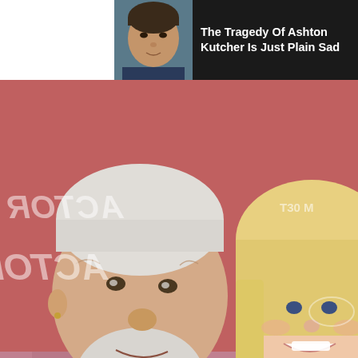[Figure (photo): Photo of Ashton Kutcher in small thumbnail with dark background banner ad]
The Tragedy Of Ashton Kutcher Is Just Plain Sad
[Figure (photo): Photo of Tommy Chong and a blonde woman smiling at a red carpet event]
Tommy Chong: the Horrifying Truth About CBD
(Tommy Chong)
[Figure (photo): Close-up photo of a person's face covered in flaky skin or salt-like texture around the mouth area]